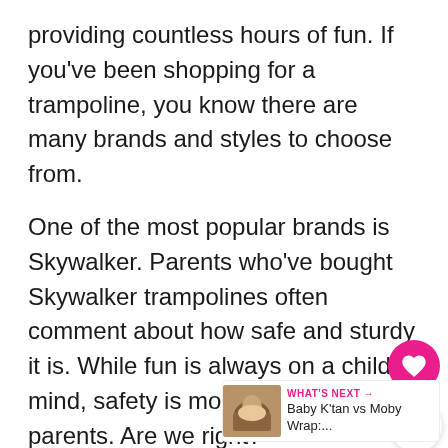providing countless hours of fun. If you've been shopping for a trampoline, you know there are many brands and styles to choose from.
One of the most popular brands is Skywalker. Parents who've bought Skywalker trampolines often comment about how safe and sturdy it is. While fun is always on a child's mind, safety is most important for parents. Are we right?
With that said, you want to be sure you're buying a trampoline that meets your safety standards. You also want to be sure you're choosing one that is the right size and shape.